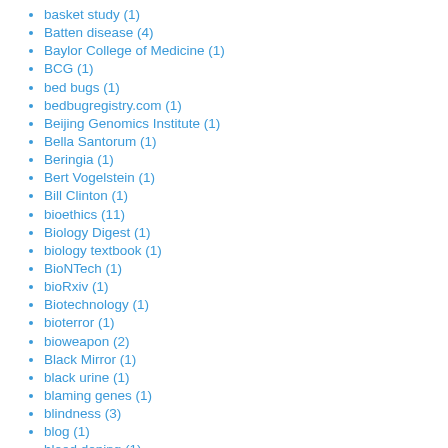basket study (1)
Batten disease (4)
Baylor College of Medicine (1)
BCG (1)
bed bugs (1)
bedbugregistry.com (1)
Beijing Genomics Institute (1)
Bella Santorum (1)
Beringia (1)
Bert Vogelstein (1)
Bill Clinton (1)
bioethics (11)
Biology Digest (1)
biology textbook (1)
BioNTech (1)
bioRxiv (1)
Biotechnology (1)
bioterror (1)
bioweapon (2)
Black Mirror (1)
black urine (1)
blaming genes (1)
blindness (3)
blog (1)
blood doping (1)
blood sugar (1)
blood vessel (1)